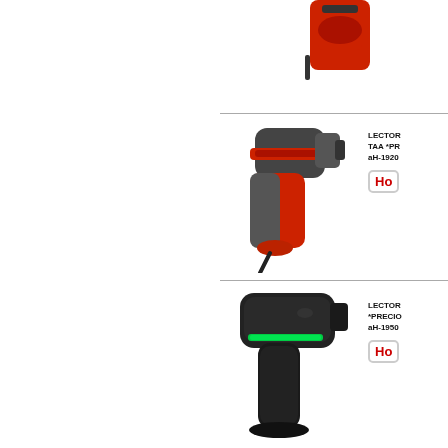[Figure (photo): Top portion of a red and black handheld barcode scanner, partially cropped at top of page]
[Figure (photo): Red and grey/black handheld barcode scanner (Honeywell) with rubber grip, cord attached, facing left]
LECTOR TAA *PR aH-1920
[Figure (logo): Honeywell brand badge/logo in red text on white rounded rectangle background]
[Figure (photo): Black handheld barcode scanner with green LED indicator light, facing left]
LECTOR *PRECIO aH-1950
[Figure (logo): Honeywell brand badge/logo in red text on white rounded rectangle background]